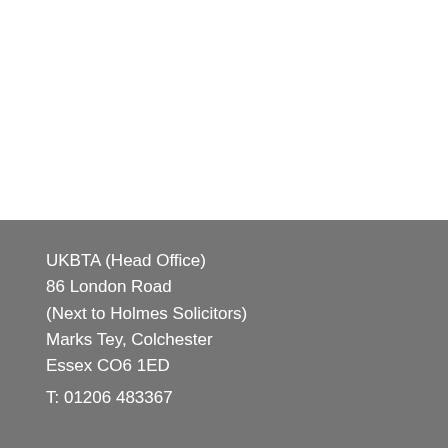UKBTA (Head Office)
86 London Road
(Next to Holmes Solicitors)
Marks Tey, Colchester
Essex CO6 1ED

T: 01206 483367